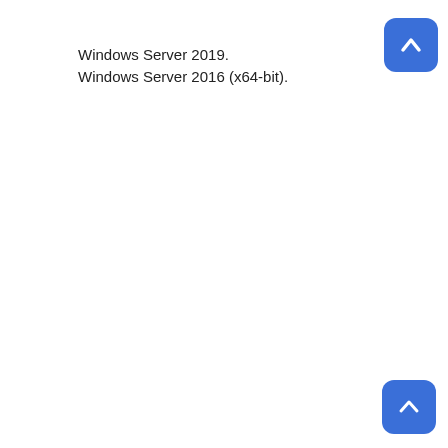ver1212a_GB.exe)
This website using cookie to ensure you get the best experience on our web.  Privacy Policy
Accept
Windows Server 2019.
Windows Server 2016 (x64-bit).
Windows Server 2012 R2 (x64-bit).
Windows Server 2012 (x64-bit).
Windows Server 2008 R2 (x64-bit).
Windows Server 2008 (x64-bit).
SOFTWARES
- MAC OSx -
PS Drivers (Download)
File Name (MX-PBX1d_2001a_MacPS.dmg)
File Sizes: 1,564,106 bytes
Ver: 2001a